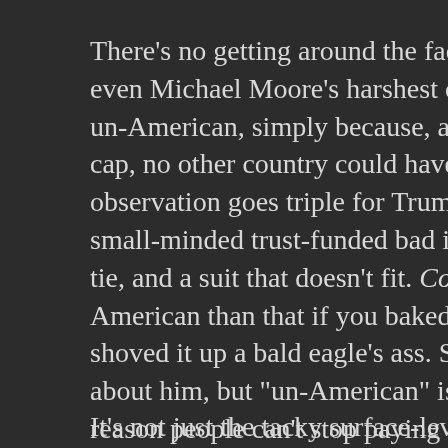There's no getting around the facts here. Lewis Black, even Michael Moore's harshest critics couldn't possibly call him un-American, simply because, as a fat white loudmouth in a ball cap, no other country could have produced him. The same observation goes triple for Trump. He's a doughy, ignorant, small-minded trust-funded bad investor with fake hair, a too-long tie, and a suit that doesn't fit. Come on. You couldn't get more American than that if you baked a baseball into an apple pie and shoved it up a bald eagle's ass. Say literally anything else about him, but "un-American" is just not in the cards. That's the reason people can't stop paying attention to him. He's a mirror of ourselves that we hate. He's a puppet, but he's not Putin's puppet. He's our puppet. He is doing the things that our society trains people to do, and he is being rewarded for it in the ways that society implicitly tells people they will be rewarded for doing those things. He's the monster, but we're Dr. Frankenstein.
It's not just the tacky surface-level stuff though. Thi...